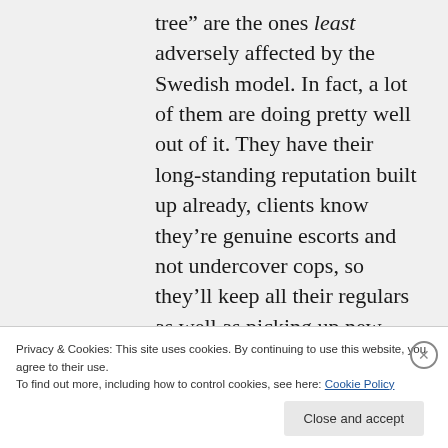tree” are the ones least adversely affected by the Swedish model. In fact, a lot of them are doing pretty well out of it. They have their long-standing reputation built up already, clients know they’re genuine escorts and not undercover cops, so they’ll keep all their regulars as well as picking up new
Privacy & Cookies: This site uses cookies. By continuing to use this website, you agree to their use.
To find out more, including how to control cookies, see here: Cookie Policy